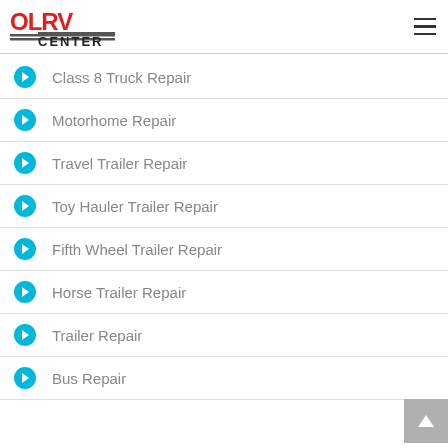[Figure (logo): OLRV Center logo with red stylized letters and black horizontal stripes with CENTER text]
Class 8 Truck Repair
Motorhome Repair
Travel Trailer Repair
Toy Hauler Trailer Repair
Fifth Wheel Trailer Repair
Horse Trailer Repair
Trailer Repair
Bus Repair